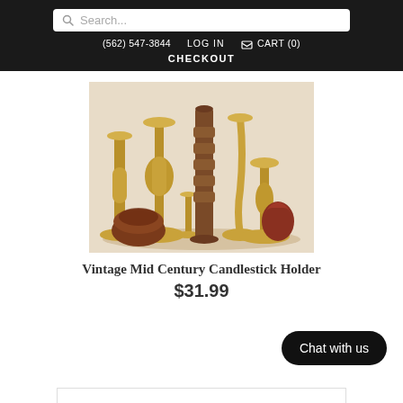Search... (562) 547-3844  LOG IN  CART (0)  CHECKOUT
[Figure (photo): A collection of vintage brass and wooden candlestick holders of various heights and styles arranged together on a white background.]
Vintage Mid Century Candlestick Holder
$31.99
Chat with us